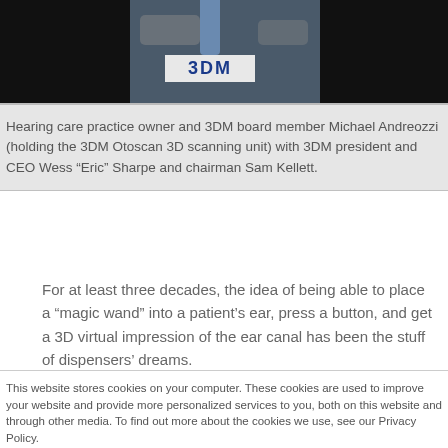[Figure (photo): Photo of three men in suits, one holding a 3DM Otoscan 3D scanning unit, with a badge visible reading '3DM']
Hearing care practice owner and 3DM board member Michael Andreozzi (holding the 3DM Otoscan 3D scanning unit) with 3DM president and CEO Wess “Eric” Sharpe and chairman Sam Kellett.
For at least three decades, the idea of being able to place a “magic wand” into a patient’s ear, press a button, and get a 3D virtual impression of the ear canal has been the stuff of dispensers’ dreams.
This website stores cookies on your computer. These cookies are used to improve your website and provide more personalized services to you, both on this website and through other media. To find out more about the cookies we use, see our Privacy Policy.